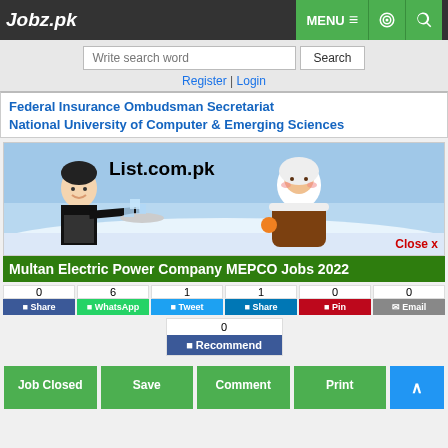Jobz.pk | MENU | [settings] | [search]
Write search word | Search
Register | Login
Federal Insurance Ombudsman Secretariat
National University of Computer & Emerging Sciences
[Figure (illustration): Advertisement banner for List.com.pk showing cartoon characters — a man in a suit and a person in winter clothing, with snow and ice imagery.]
Close x
Multan Electric Power Company MEPCO Jobs 2022
0 Share | 6 WhatsApp | 1 Tweet | 1 Share | 0 Pin | 0 Email
0 Recommend
Job Closed | Save | Comment | Print | ^